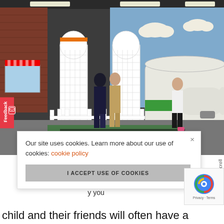[Figure (photo): Indoor children's play area with white picket fence, arched white structure resembling a phone booth or gate, children playing, a large silver/white vehicle trailer in the background, a small airplane visible on the right side, brick-patterned walls, and painted cloud murals on blue walls.]
Our site uses cookies. Learn more about our use of cookies: cookie policy
I ACCEPT USE OF COOKIES
venue you
y par
y you
child and their friends will often have a